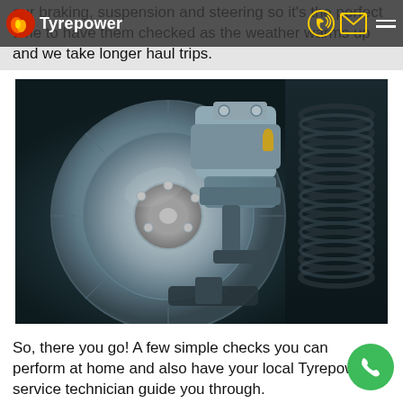Tyrepower
our braking, suspension and steering so it's the perfect time to have them checked as the weather warms up and we take longer haul trips.
[Figure (photo): Close-up photo of a car brake disc rotor and caliper assembly, with suspension components visible in the background, dark teal/metallic tones.]
So, there you go! A few simple checks you can perform at home and also have your local Tyrepower service technician guide you through.